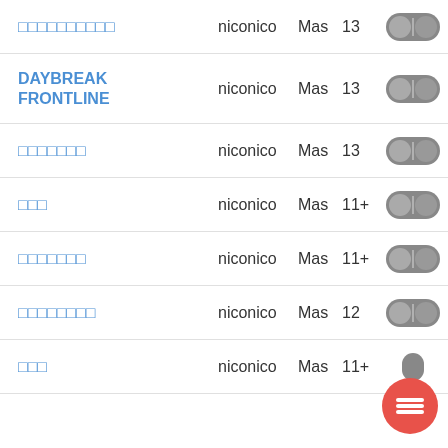□□□□□□□□□□ | niconico | Mas | 13
DAYBREAK FRONTLINE | niconico | Mas | 13
□□□□□□□ | niconico | Mas | 13
□□□ | niconico | Mas | 11+
□□□□□□□ | niconico | Mas | 11+
□□□□□□□□ | niconico | Mas | 12
□□□ | niconico | Mas | 11+